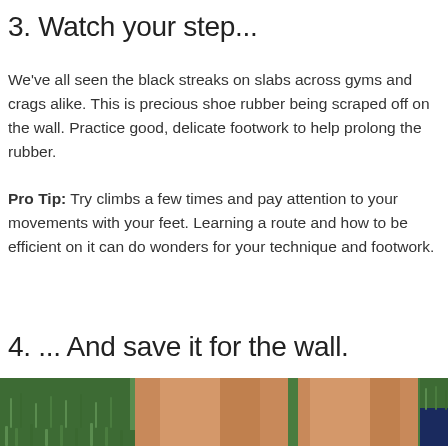3. Watch your step...
We've all seen the black streaks on slabs across gyms and crags alike. This is precious shoe rubber being scraped off on the wall. Practice good, delicate footwork to help prolong the rubber.
Pro Tip: Try climbs a few times and pay attention to your movements with your feet. Learning a route and how to be efficient on it can do wonders for your technique and footwork.
4. ... And save it for the wall.
[Figure (photo): Photo showing feet on grass, appears to be a climbing shoe care tip illustration — bare or shod feet sitting on green grass, cropped to show lower legs and grass only.]